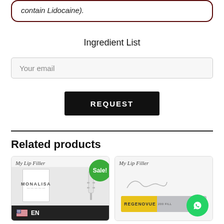contain Lidocaine).
Ingredient List
Your email
REQUEST
Related products
[Figure (photo): Product card for My Lip Filler Monalisa with Sale badge, showing product box and syringe, with EN language selector bar at bottom]
[Figure (photo): Product card for My Lip Filler showing Regenovue branded product box in silver and yellow, with WhatsApp button overlay]